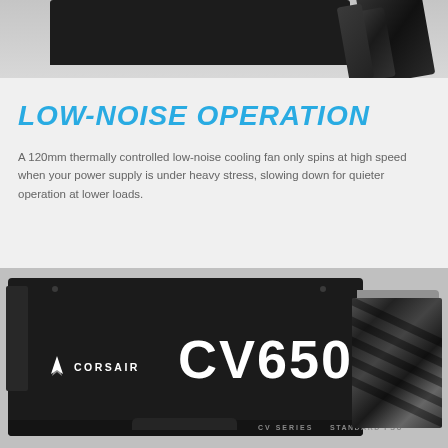[Figure (photo): Top portion of Corsair CV650 power supply unit with black casing and cables visible against gray background]
LOW-NOISE OPERATION
A 120mm thermally controlled low-noise cooling fan only spins at high speed when your power supply is under heavy stress, slowing down for quieter operation at lower loads.
[Figure (photo): Corsair CV650 power supply unit product photo showing black PSU with Corsair logo and CV650 model name, with CV SERIES and STANDARD PSU labels, cables visible on the right side]